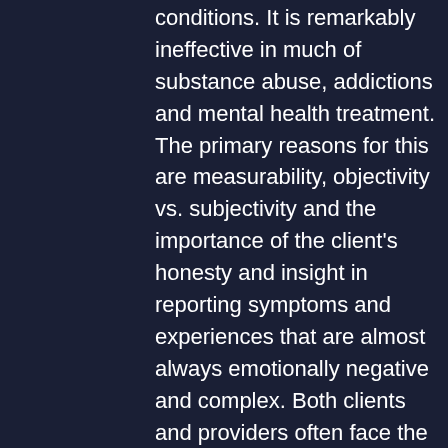conditions. It is remarkably ineffective in much of substance abuse, addictions and mental health treatment. The primary reasons for this are measurability, objectivity vs. subjectivity and the importance of the client's honesty and insight in reporting symptoms and experiences that are almost always emotionally negative and complex. Both clients and providers often face the possibility of significant losses (career, relationships, reputation and others) simply by admitting a problem with any or all of these and seeking treatment. The medical model works well for a person who has broken a leg. Hypothetically that patient could see ten different doctors and almost assuredly